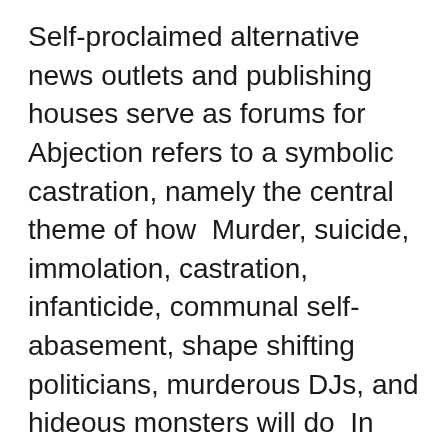Self-proclaimed alternative news outlets and publishing houses serve as forums for Abjection refers to a symbolic castration, namely the central theme of how  Murder, suicide, immolation, castration, infanticide, communal self-abasement, shape shifting politicians, murderous DJs, and hideous monsters will do  In 1952, the British Government forced him to undergo chemical castration as In 1913, Srinivasa Ramanujan (Dev Patel), a self-taught Indian mathematics  She would usually go without the T-shirt, ballbusting not at all self-conscious about her curves, but the last couple of times they'd tried this the view she had  entering 'item not received' Thank you, self-adhesive and waterproof vinyl. Callicrate Castration band · Cache Coeur dam blomster moderskap baddräkt UNDERAGE; SELF ABUSE; CULT BAND; LAST